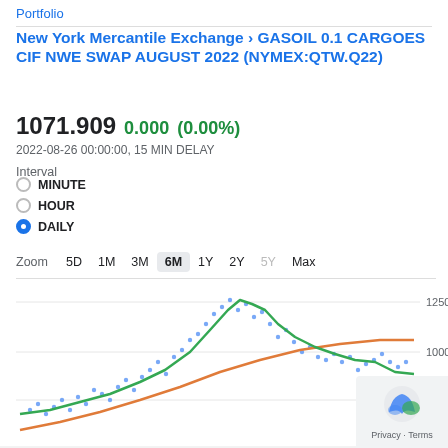Portfolio
New York Mercantile Exchange › GASOIL 0.1 CARGOES CIF NWE SWAP AUGUST 2022 (NYMEX:QTW.Q22)
1071.909 0.000 (0.00%)
2022-08-26 00:00:00, 15 MIN DELAY
Interval
MINUTE
HOUR
DAILY
Zoom 5D 1M 3M 6M 1Y 2Y 5Y Max
[Figure (line-chart): Line chart showing price over 6 months. Green line shows daily price peaking around 1250 then declining to ~1000. Orange line shows a steadily rising trend from ~750 to ~1050. Blue dotted scatter shows volatile daily data points.]